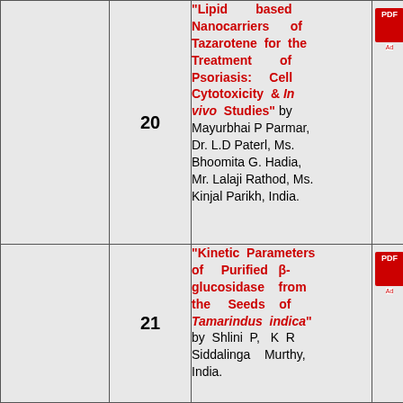|  | No. | Title/Authors | PDF |
| --- | --- | --- | --- |
|  | 20 | "Lipid based Nanocarriers of Tazarotene for the Treatment of Psoriasis: Cell Cytotoxicity & In vivo Studies" by Mayurbhai P Parmar, Dr. L.D Paterl, Ms. Bhoomita G. Hadia, Mr. Lalaji Rathod, Ms. Kinjal Parikh, India. | [PDF icon] |
|  | 21 | "Kinetic Parameters of Purified β-glucosidase from the Seeds of Tamarindus indica" by Shlini P, K R Siddalinga Murthy, India. | [PDF icon] |
|  | 22 | "Combined in vivo Antioxidant Activity of Crude Seed Extracts of Selected Medicinal Plants on... | [PDF icon] |